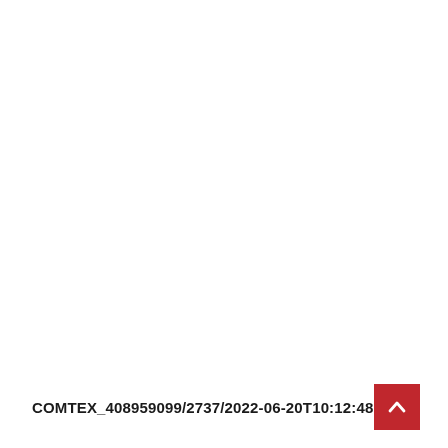COMTEX_408959099/2737/2022-06-20T10:12:48